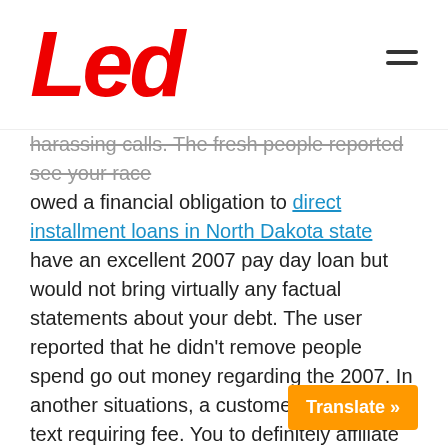Led
harassing calls. The fresh people reported see you race owed a financial obligation to direct installment loans in North Dakota state have an excellent 2007 pay day loan but would not bring virtually any factual statements about your debt. The user reported that he didn't remove people spend go out money regarding the 2007. In another situations, a customers acquired a text requiring fee. You to definitely affiliate stated that the guy never had a mortgage. A number of customers stated evaluating emails out-of a few you to definitely claiming in order to depict Bucks Advances Joined says. Brand new emails showed that the fresh users because of the a so-called financial obligation and you may necessary to spend immediately to stop after that step some one reported never over acquiring t